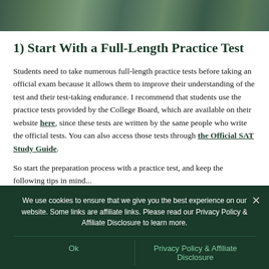[Figure (photo): Partial view of SAT study materials/books on a desk]
1) Start With a Full-Length Practice Test
Students need to take numerous full-length practice tests before taking an official exam because it allows them to improve their understanding of the test and their test-taking endurance. I recommend that students use the practice tests provided by the College Board, which are available on their website here, since these tests are written by the same people who write the official tests. You can also access those tests through the Official SAT Study Guide.
So start the preparation process with a practice test, and keep the following tips in mind...
We use cookies to ensure that we give you the best experience on our website. Some links are affiliate links. Please read our Privacy Policy & Affiliate Disclosure to learn more.
Ok   Privacy Policy & Affiliate Disclosure